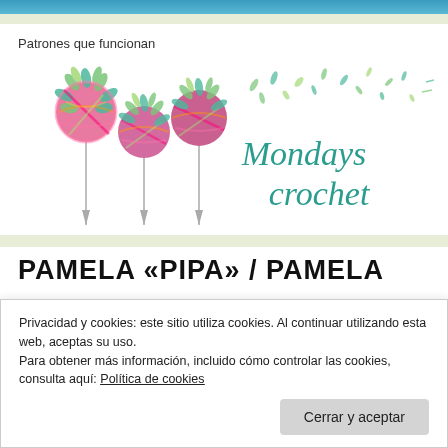Patrones que funcionan
[Figure (logo): Mondays Crochet logo with colorful yarn-ball dandelion flowers and handwritten text 'Mondays crochet' in teal]
PAMELA «PIPA» / PAMELA
Privacidad y cookies: este sitio utiliza cookies. Al continuar utilizando esta web, aceptas su uso.
Para obtener más información, incluido cómo controlar las cookies, consulta aquí: Política de cookies
Cerrar y aceptar